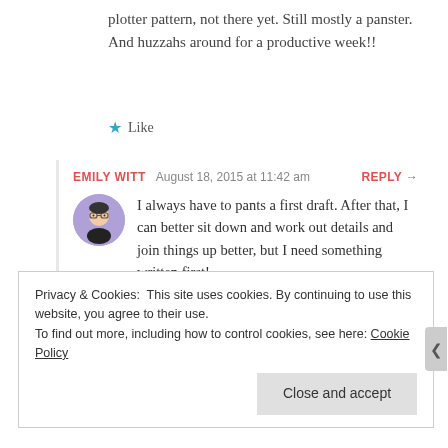plotter pattern, not there yet. Still mostly a panster. And huzzahs around for a productive week!!
★ Like
EMILY WITT   August 18, 2015 at 11:42 am   REPLY →
[Figure (illustration): Circular avatar with purple background showing a cartoon character with glasses]
I always have to pants a first draft. After that, I can better sit down and work out details and join things up better, but I need something written first!
Privacy & Cookies: This site uses cookies. By continuing to use this website, you agree to their use. To find out more, including how to control cookies, see here: Cookie Policy
Close and accept